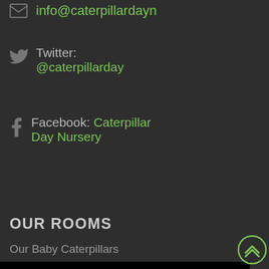info@caterpillardayn
Twitter: @caterpillarday
Facebook: Caterpillar Day Nursery
OUR ROOMS
Our Baby Caterpillars
This website uses cookies to ensure you get the best experience on our website
Learn more
Refuse cookies
Allow cookies